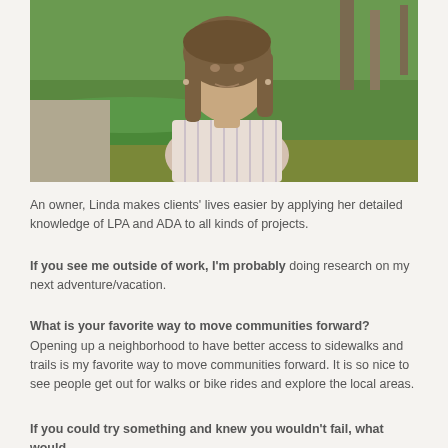[Figure (photo): Portrait photo of a woman with shoulder-length brown hair wearing a light pink and white striped button-up shirt, standing outdoors with green trees and bushes in the background.]
An owner, Linda makes clients' lives easier by applying her detailed knowledge of LPA and ADA to all kinds of projects.
If you see me outside of work, I'm probably doing research on my next adventure/vacation.
What is your favorite way to move communities forward?
Opening up a neighborhood to have better access to sidewalks and trails is my favorite way to move communities forward. It is so nice to see people get out for walks or bike rides and explore the local areas.
If you could try something and knew you wouldn't fail, what would